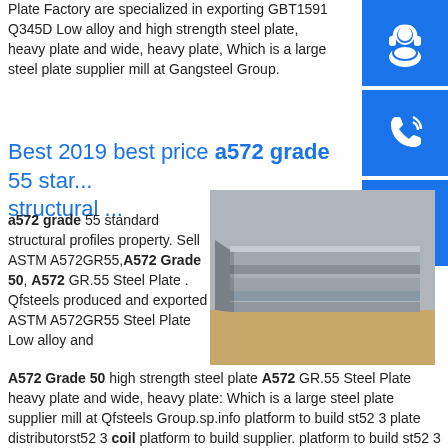Plate Factory are specialized in exporting GBT1591 Q345D Low alloy and high strength steel plate, heavy plate and wide, heavy plate, Which is a large steel plate supplier mill at Gangsteel Group.
Best 2019 best price a572 grade 55 standard structural ...
a572 grade 55 standard structural profiles property. Sell ASTM A572GR55, A572 Grade 50, A572 GR.55 Steel Plate . Qfsteels produced and exported ASTM A572GR55 Steel Plate Low alloy and A572 Grade 50 high strength steel plate A572 GR.55 Steel Plate heavy plate and wide, heavy plate: Which is a large steel plate supplier mill at Qfsteels Group.sp.info platform to build st52 3 plate distributorst52 3 coil platform to build supplier. platform to build st52 3
[Figure (photo): Stack of steel plates photographed at an angle, showing layered grey metal plates]
[Figure (illustration): Blue square button with white headset/customer service icon]
[Figure (illustration): Blue square button with white phone/call icon]
[Figure (illustration): Blue square button with white Skype icon]